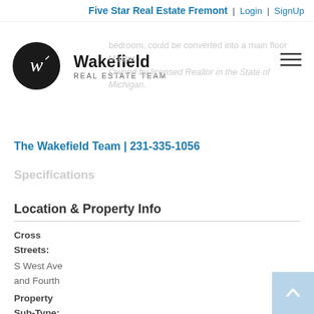Five Star Real Estate Fremont | Login | SignUp
[Figure (logo): Wakefield Real Estate Team logo — black circle with stylized 'w' and text 'Wakefield Real Estate Team']
bedroom, could be converted into a main floor Master. Owned by licensed Realtor in the State of Michigan.
The Wakefield Team | 231-335-1056
Specifications
Location & Property Info
Cross Streets:
S West Ave and Fourth
Property Sub-Type:
Single Family Residence
Sub-Area:
JX10 - Jackson